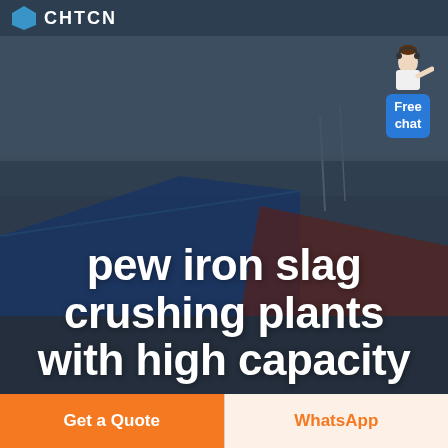CHTCN
[Figure (photo): Aerial view of an industrial crushing plant facility with large blue structures and open landscape in the background, with a customer service representative figure and a 'Free chat' button overlay in the top right corner.]
pew iron slag crushing plants with high capacity
Get a Quote
WhatsApp